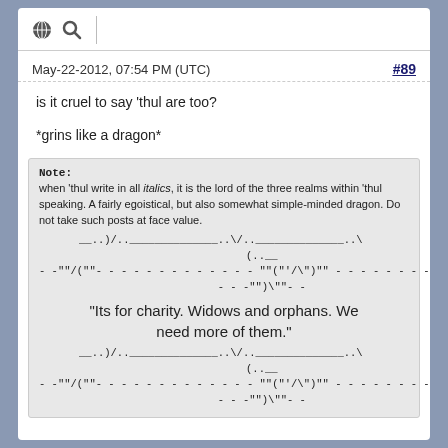icons: globe and search
May-22-2012, 07:54 PM (UTC)   #89
is it cruel to say 'thul are too?

*grins like a dragon*
Note:
when 'thul write in all italics, it is the lord of the three realms within 'thul speaking. A fairly egoistical, but also somewhat simple-minded dragon. Do not take such posts at face value.
__..)/..______________..V..______________..\  
(..__ 
--""/(""---------------"("'/\'")"- - - - - - - - 
- - -"")\""- - 
"Its for charity. Widows and orphans. We need more of them."
__..)/..______________..V..______________..\  
(..__ 
--""/(""---------------"("'/\'")"- - - - - - - - 
- - -"")\""- -